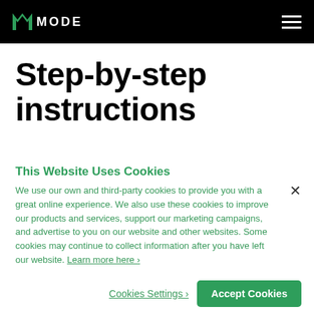MODE
Step-by-step instructions
This Website Uses Cookies
We use our own and third-party cookies to provide you with a great online experience. We also use these cookies to improve our products and services, support our marketing campaigns, and advertise to you on our website and other websites. Some cookies may continue to collect information after you have left our website. Learn more here ›
Cookies Settings ›
Accept Cookies